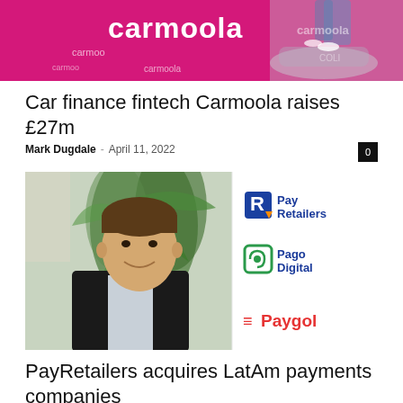[Figure (photo): Pink Carmoola branded car with person sitting on it]
Car finance fintech Carmoola raises £27m
Mark Dugdale - April 11, 2022
[Figure (photo): Man in black suit smiling with green plant in background, alongside PayRetailers, Pago Digital, and Paygol logos]
PayRetailers acquires LatAm payments companies
Mark Dugdale - April 8, 2022